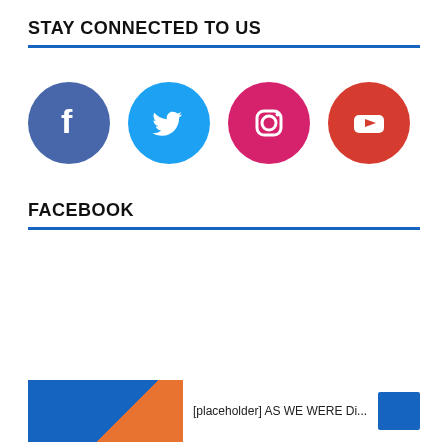STAY CONNECTED TO US
[Figure (infographic): Four social media icon circles in a row: Facebook (blue), Twitter (light blue), Instagram (pink/magenta), YouTube (red)]
FACEBOOK
[Figure (screenshot): Partial Facebook post preview with blue/orange image thumbnail and truncated text, with a blue button on the right]